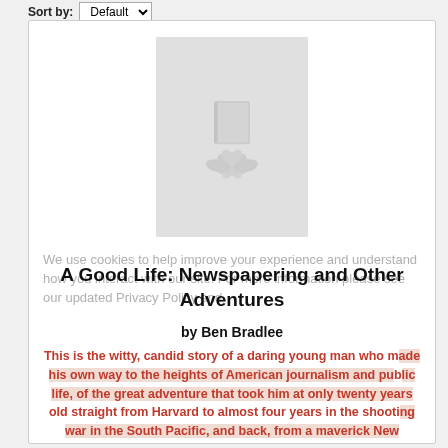Sort by: Default
[Figure (illustration): Book cover placeholder with a stylized lily/flower and book icon on a light gray background]
We use cookies to help improve your experience and understand how you interact with our site. For more information please see our updated Privacy Policy and
A Good Life: Newspapering and Other Adventures
by Ben Bradlee
This is the witty, candid story of a daring young man who made his own way to the heights of American journalism and public life, of the great adventure that took him at only twenty years old straight from Harvard to almost four years in the shooting war in the South Pacific, and back, from a maverick New Hampshire weekly to an...